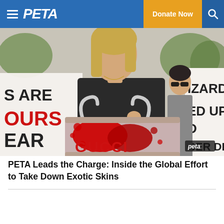PETA | Donate Now
[Figure (photo): A woman in black clothing holds up a red-paint-splattered handbag with a GUCCI logo at a protest. Demonstrators in the background hold signs partially visible reading 'S ARE', 'OURS', 'EAR', 'LIZARDS', 'ED UP', 'D', 'BER...DED' and 'GUCCI'. A PETA logo watermark appears in the lower right corner.]
PETA Leads the Charge: Inside the Global Effort to Take Down Exotic Skins